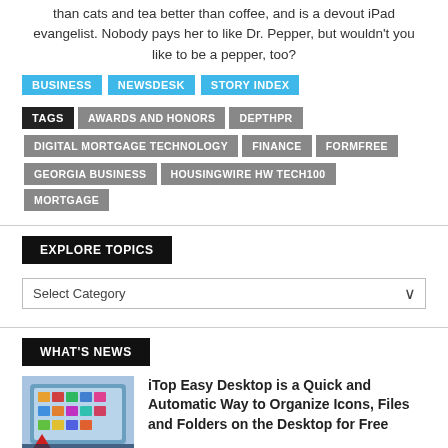than cats and tea better than coffee, and is a devout iPad evangelist. Nobody pays her to like Dr. Pepper, but wouldn't you like to be a pepper, too?
BUSINESS
NEWSDESK
STORY INDEX
TAGS | AWARDS AND HONORS | DEPTHPR
DIGITAL MORTGAGE TECHNOLOGY | FINANCE | FORMFREE
GEORGIA BUSINESS | HOUSINGWIRE HW TECH100 | MORTGAGE
EXPLORE TOPICS
Select Category
WHAT'S NEWS
iTop Easy Desktop is a Quick and Automatic Way to Organize Icons, Files and Folders on the Desktop for Free